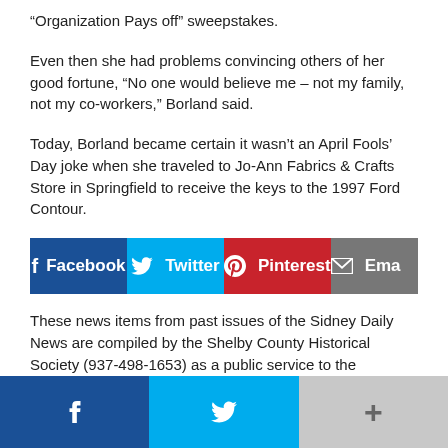“Organization Pays off” sweepstakes.
Even then she had problems convincing others of her good fortune, “No one would believe me – not my family, not my co-workers,” Borland said.
Today, Borland became certain it wasn’t an April Fools’ Day joke when she traveled to Jo-Ann Fabrics & Crafts Store in Springfield to receive the keys to the 1997 Ford Contour.
[Figure (other): Social sharing buttons: Facebook, Twitter, Pinterest, Email]
These news items from past issues of the Sidney Daily News are compiled by the Shelby County Historical Society (937-498-1653) as a public service to the community. Local history on the Internet! www.shelbycountyhistory.org
[Figure (other): Bottom bar with Facebook, Twitter, and more (+) buttons]